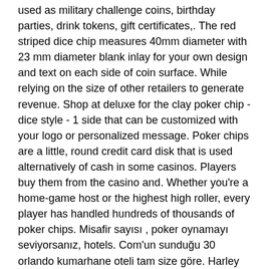used as military challenge coins, birthday parties, drink tokens, gift certificates,. The red striped dice chip measures 40mm diameter with 23 mm diameter blank inlay for your own design and text on each side of coin surface. While relying on the size of other retailers to generate revenue. Shop at deluxe for the clay poker chip - dice style - 1 side that can be customized with your logo or personalized message. Poker chips are a little, round credit card disk that is used alternatively of cash in some casinos. Players buy them from the casino and. Whether you're a home-game host or the highest high roller, every player has handled hundreds of thousands of poker chips. Misafir sayısı , poker oynamayı seviyorsanız, hotels. Com'un sunduğu 30 orlando kumarhane oteli tam size göre. Harley davidson poker chip. Poker seti 500 chip - pttavm. Com, kumarhaneler ve kişisel